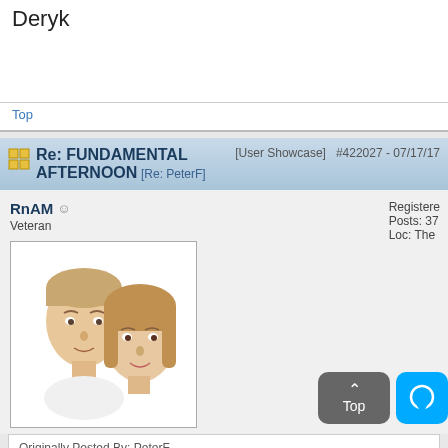Deryk
Top
Re: FUNDAMENTAL AFTERNOON [Re: PeterF]  [User Showcase]  #422027 - 07/17/17
RnAM
Veteran
Registered
Posts: 37...
Loc: The...
[Figure (illustration): Illustrated portrait of a man and woman couple]
Originally Posted By: PeterF
Rob & Ann Marie